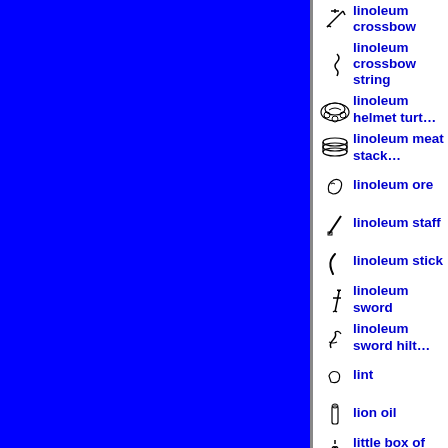[Figure (illustration): Large solid blue rectangle filling the left portion of the page]
linoleum crossbow
linoleum crossbow string
linoleum helmet turtle
linoleum meat stack
linoleum ore
linoleum staff
linoleum stick
linoleum sword
linoleum sword hilt
lint
lion oil
little box of fireworks
little paper umbrella